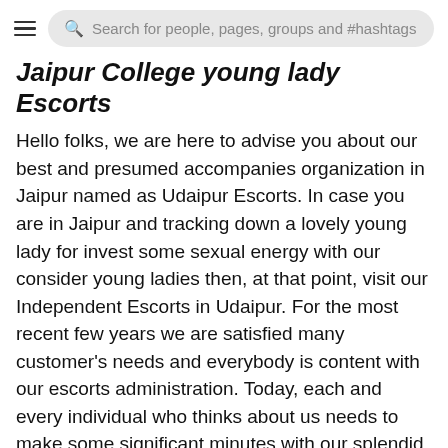Search for people, pages, groups and #hashtags
Jaipur College young lady Escorts
Hello folks, we are here to advise you about our best and presumed accompanies organization in Jaipur named as Udaipur Escorts. In case you are in Jaipur and tracking down a lovely young lady for invest some sexual energy with our consider young ladies then, at that point, visit our Independent Escorts in Udaipur. For the most recent few years we are satisfied many customer's needs and everybody is content with our escorts administration. Today, each and every individual who thinks about us needs to make some significant minutes with our splendid call young
This website uses cookies to ensure you get the best experience on our website. Learn More
Got It!